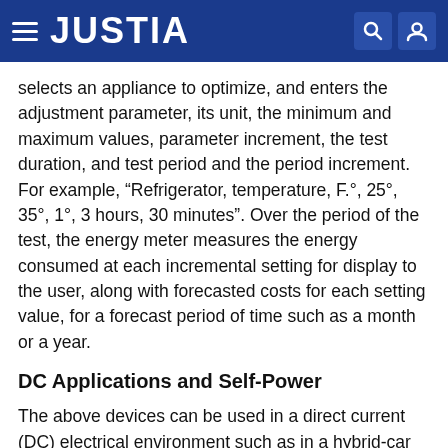JUSTIA
selects an appliance to optimize, and enters the adjustment parameter, its unit, the minimum and maximum values, parameter increment, the test duration, and test period and the period increment. For example, “Refrigerator, temperature, F.°, 25°, 35°, 1°, 3 hours, 30 minutes”. Over the period of the test, the energy meter measures the energy consumed at each incremental setting for display to the user, along with forecasted costs for each setting value, for a forecast period of time such as a month or a year.
DC Applications and Self-Power
The above devices can be used in a direct current (DC) electrical environment such as in a hybrid-car or where a user has a self-powered electrical system such as a generator, solar panels, or wind turbine generator. The